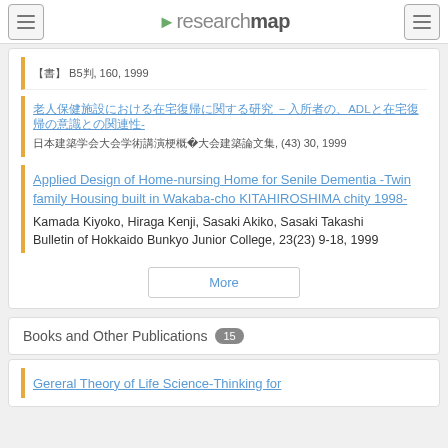researchmap
【書】 B5判, 160, 1999
老人保健施設における在宅復帰に関する研究 -入所者の、ADLと在宅復帰の意識との関連性-
日本建築学会大会学術講演梗概集44大会建築論文集, (43) 30, 1999
Applied Design of Home-nursing Home for Senile Dementia -Twin family Housing built in Wakaba-cho KITAHIROSHIMA chity 1998-
Kamada Kiyoko, Hiraga Kenji, Sasaki Akiko, Sasaki Takashi
Bulletin of Hokkaido Bunkyo Junior College, 23(23) 9-18, 1999
Books and Other Publications 15
Gereral Theory of Life Science-Thinking for